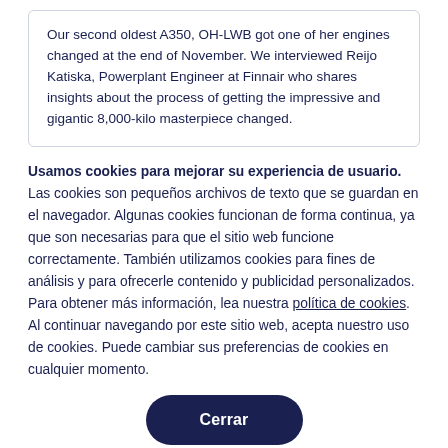Our second oldest A350, OH-LWB got one of her engines changed at the end of November. We interviewed Reijo Katiska, Powerplant Engineer at Finnair who shares insights about the process of getting the impressive and gigantic 8,000-kilo masterpiece changed.
Usamos cookies para mejorar su experiencia de usuario. Las cookies son pequeños archivos de texto que se guardan en el navegador. Algunas cookies funcionan de forma continua, ya que son necesarias para que el sitio web funcione correctamente. También utilizamos cookies para fines de análisis y para ofrecerle contenido y publicidad personalizados. Para obtener más información, lea nuestra política de cookies. Al continuar navegando por este sitio web, acepta nuestro uso de cookies. Puede cambiar sus preferencias de cookies en cualquier momento.
Cerrar
Definir preferencias de cookies